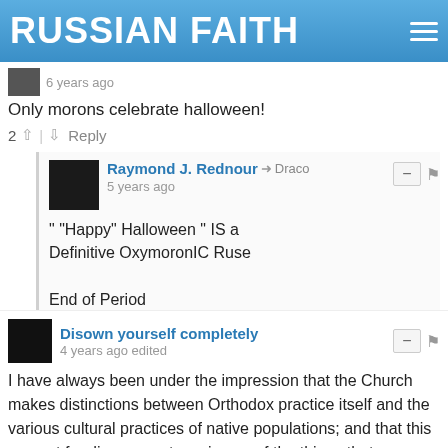RUSSIAN FAITH
6 years ago
Only morons celebrate halloween!
2 | Reply
Raymond J. Rednour → Draco
5 years ago
" "Happy" Halloween " IS a Definitive OxymoronIC Ruse

End of Period
7 | Reply
Disown yourself completely
4 years ago edited
I have always been under the impression that the Church makes distinctions between Orthodox practice itself and the various cultural practices of native populations; and that this respect for diverse customs is one of the things that distinguishes the attitude of Orthodoxy from the attitude of the more culturally-imperialist Protestants.